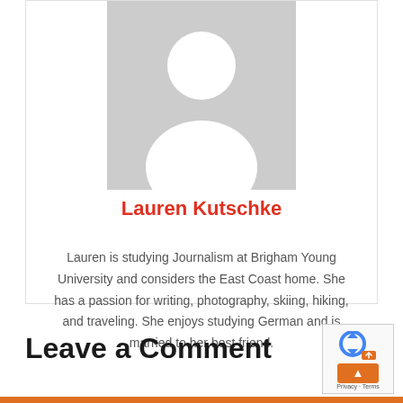[Figure (illustration): Generic grey placeholder avatar silhouette showing a person outline — head circle and shoulders on a grey rectangle background]
Lauren Kutschke
Lauren is studying Journalism at Brigham Young University and considers the East Coast home. She has a passion for writing, photography, skiing, hiking, and traveling. She enjoys studying German and is married to her best friend.
Leave a Comment
[Figure (logo): reCAPTCHA widget with blue circular arrow logo and an orange button with an up-arrow, with Privacy and Terms links at the bottom]